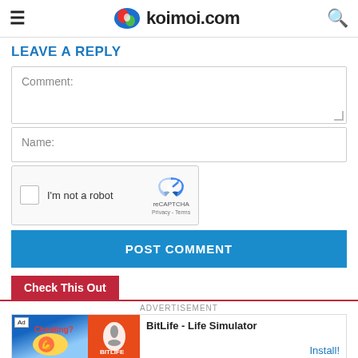koimoi.com
LEAVE A REPLY
Comment:
Name:
[Figure (other): reCAPTCHA widget with checkbox labeled I'm not a robot, reCAPTCHA logo, Privacy and Terms links]
POST COMMENT
Check This Out
ADVERTISEMENT
[Figure (other): Advertisement banner for BitLife - Life Simulator with Install button]